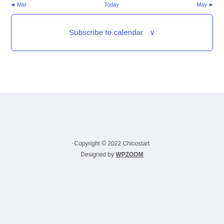◄ Mar    Today    May ►
Subscribe to calendar ∨
Copyright © 2022 Chicostart
Designed by WPZOOM